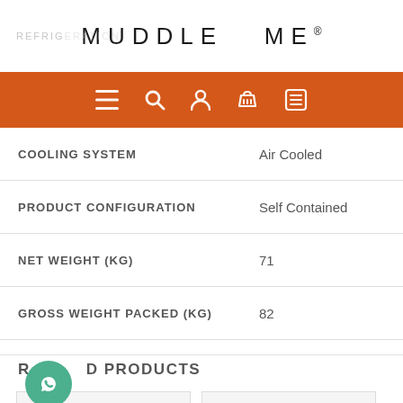REFRIGERATION  MUDDLE ME®
[Figure (screenshot): Orange navigation bar with hamburger menu, search, user, basket, and list icons in white]
| Specification | Value |
| --- | --- |
| COOLING SYSTEM | Air Cooled |
| PRODUCT CONFIGURATION | Self Contained |
| NET WEIGHT (KG) | 71 |
| GROSS WEIGHT PACKED (KG) | 82 |
RELATED PRODUCTS
[Figure (photo): Two product thumbnail images at bottom of page, partially visible]